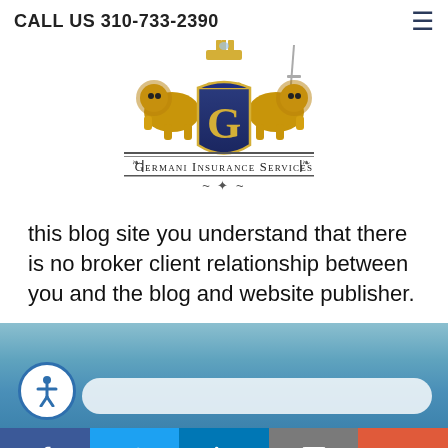CALL US 310-733-2390
[Figure (logo): Germani Insurance Services logo with heraldic crest, crown, lions, and shield with G monogram]
this blog site you understand that there is no broker client relationship between you and the blog and website publisher.
[Figure (screenshot): Blue gradient background section with accessibility icon and search bar]
Social share bar: Facebook, Twitter, LinkedIn, Email, More